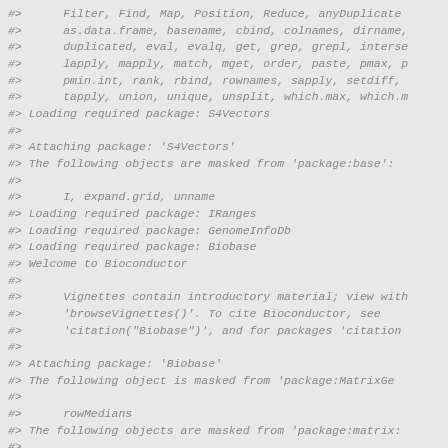#>      Filter, Find, Map, Position, Reduce, anyDuplicate
#>      as.data.frame, basename, cbind, colnames, dirname,
#>      duplicated, eval, evalq, get, grep, grepl, interse
#>      lapply, mapply, match, mget, order, paste, pmax, p
#>      pmin.int, rank, rbind, rownames, sapply, setdiff,
#>      tapply, union, unique, unsplit, which.max, which.m
#> Loading required package: S4Vectors
#>
#> Attaching package: 'S4Vectors'
#> The following objects are masked from 'package:base':
#>
#>      I, expand.grid, unname
#> Loading required package: IRanges
#> Loading required package: GenomeInfoDb
#> Loading required package: Biobase
#> Welcome to Bioconductor
#>
#>      Vignettes contain introductory material; view with
#>      'browseVignettes()'. To cite Bioconductor, see
#>      'citation("Biobase")', and for packages 'citation
#>
#> Attaching package: 'Biobase'
#> The following object is masked from 'package:MatrixGe
#>
#>      rowMedians
#> The following objects are masked from 'package:matrix:
#>